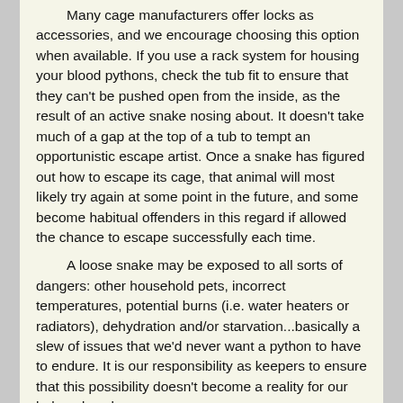Many cage manufacturers offer locks as accessories, and we encourage choosing this option when available. If you use a rack system for housing your blood pythons, check the tub fit to ensure that they can't be pushed open from the inside, as the result of an active snake nosing about. It doesn't take much of a gap at the top of a tub to tempt an opportunistic escape artist. Once a snake has figured out how to escape its cage, that animal will most likely try again at some point in the future, and some become habitual offenders in this regard if allowed the chance to escape successfully each time.

A loose snake may be exposed to all sorts of dangers: other household pets, incorrect temperatures, potential burns (i.e. water heaters or radiators), dehydration and/or starvation...basically a slew of issues that we'd never want a python to have to endure. It is our responsibility as keepers to ensure that this possibility doesn't become a reality for our beloved snakes.